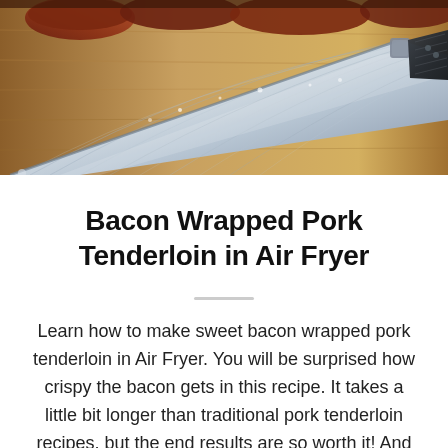[Figure (photo): Close-up photo of a Damascus steel chef's knife with a dark handle resting on a wooden cutting board, with pieces of bacon-wrapped pork visible in the upper background.]
Bacon Wrapped Pork Tenderloin in Air Fryer
Learn how to make sweet bacon wrapped pork tenderloin in Air Fryer. You will be surprised how crispy the bacon gets in this recipe. It takes a little bit longer than traditional pork tenderloin recipes, but the end results are so worth it! And the best